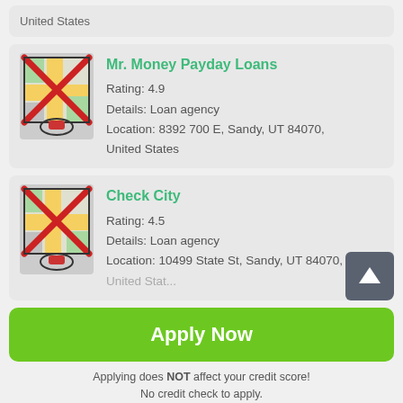United States
[Figure (screenshot): Map thumbnail with red X overlay for Mr. Money Payday Loans]
Mr. Money Payday Loans
Rating: 4.9
Details: Loan agency
Location: 8392 700 E, Sandy, UT 84070, United States
[Figure (screenshot): Map thumbnail with red X overlay for Check City]
Check City
Rating: 4.5
Details: Loan agency
Location: 10499 State St, Sandy, UT 84070, United States
Apply Now
Applying does NOT affect your credit score!
No credit check to apply.